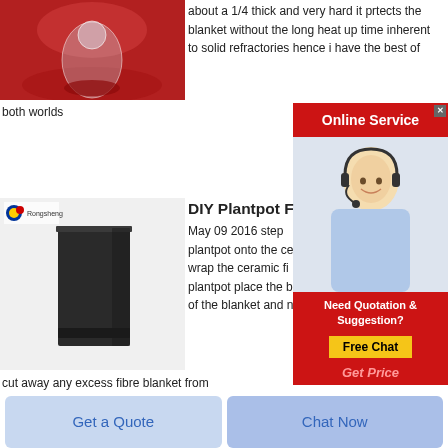[Figure (photo): A glass vase or vessel on a red surface, cropped at top]
about a 1/4 thick and very hard it prtects the blanket without the long heat up time inherent to solid refractories hence i have the best of
both worlds
[Figure (infographic): Online Service advertisement banner with a woman wearing a headset, Need Quotation & Suggestion? Free Chat, Get Price buttons]
[Figure (photo): A dark graphite/carbon block on a light gray background with Rongsheng logo]
DIY Plantpot F
May 09 2016  step plantpot onto the ce wrap the ceramic fi plantpot place the b of the blanket and n
cut away any excess fibre blanket from
[Figure (photo): A reddish-brown brick or tile on a light gray background with Rongsheng logo]
Infrared Saunas 9 Health Benefits You Can T Pass Up
Get a Quote
Chat Now